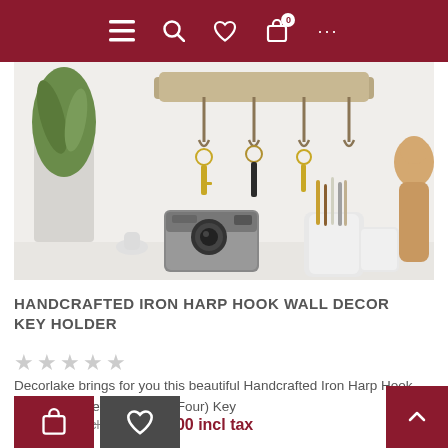Navigation bar with menu, search, wishlist, cart (0), and more options
[Figure (photo): A wall-mounted wooden key holder with 4 iron harp hooks holding keys, alongside a vintage camera, potted green plant, white ceramic cup with pencils and brushes, and a wooden mannequin on a white surface.]
HANDCRAFTED IRON HARP HOOK WALL DECOR KEY HOLDER
★★★★★ (empty star rating)
Decorlake brings for you this beautiful Handcrafted Iron Harp Hook Wall Decor Key Holder | 4 (Four) Key
₹ 1,299.00 incl tax  ₹ 900.00 incl tax